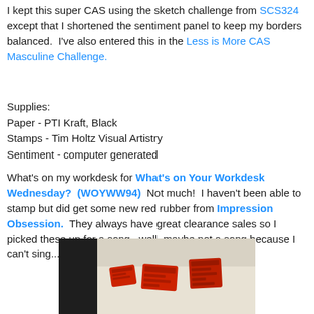I kept this super CAS using the sketch challenge from SCS324 except that I shortened the sentiment panel to keep my borders balanced.  I've also entered this in the Less is More CAS Masculine Challenge.
Supplies:
Paper - PTI Kraft, Black
Stamps - Tim Holtz Visual Artistry
Sentiment - computer generated
What's on my workdesk for What's on Your Workdesk Wednesday?  (WOYWW94)  Not much!  I haven't been able to stamp but did get some new red rubber from Impression Obsession.  They always have great clearance sales so I picked these up for a song...well, maybe not a song because I can't sing...but pretty cheap!
[Figure (photo): Photo of red rubber stamps on a light surface, with a dark background on the left side]